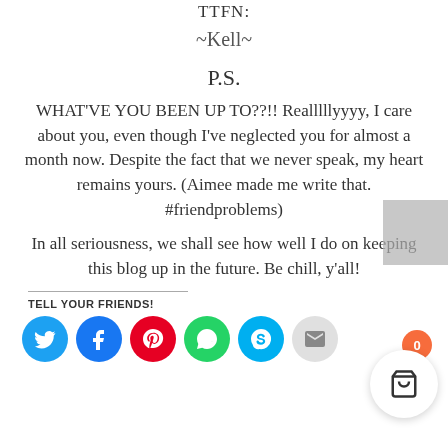TTFN:
~Kell~
P.S.
WHAT'VE YOU BEEN UP TO??!! Realllllyyyy, I care about you, even though I've neglected you for almost a month now. Despite the fact that we never speak, my heart remains yours. (Aimee made me write that. #friendproblems)
In all seriousness, we shall see how well I do on keeping this blog up in the future. Be chill, y'all!
TELL YOUR FRIENDS!
[Figure (infographic): Social share icons: Twitter (blue), Facebook (blue), Pinterest (red), WhatsApp (green), Skype (light blue), Email (grey). Cart icon with orange badge showing 0.]